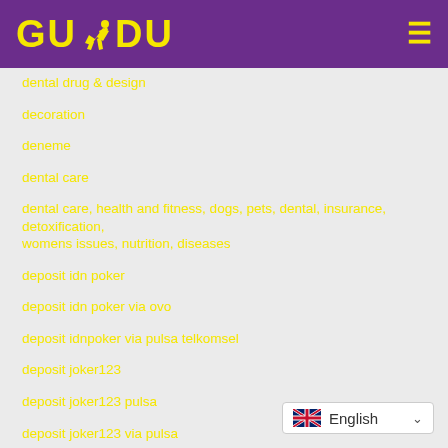[Figure (logo): GUDU logo with yellow text and runner icon on purple background, with hamburger menu icon on right]
dental drug & design
decoration
deneme
dental care
dental care, health and fitness, dogs, pets, dental, insurance, detoxification, womens issues, nutrition, diseases
deposit idn poker
deposit idn poker via ovo
deposit idnpoker via pulsa telkomsel
deposit joker123
deposit joker123 pulsa
deposit joker123 via pulsa
deposit joker88 pulsa
[Figure (screenshot): English language selector widget with UK flag and dropdown arrow]